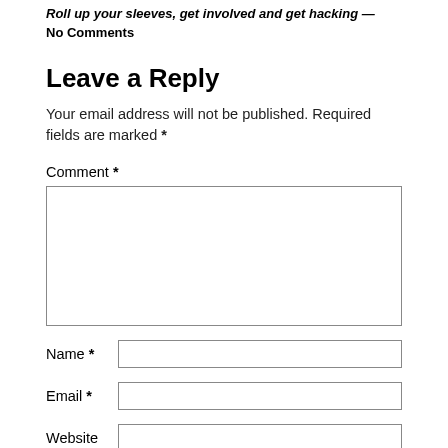Roll up your sleeves, get involved and get hacking — No Comments
Leave a Reply
Your email address will not be published. Required fields are marked *
Comment *
[Figure (other): Comment text area input box]
Name *
[Figure (other): Name text input field]
Email *
[Figure (other): Email text input field]
Website
[Figure (other): Website text input field]